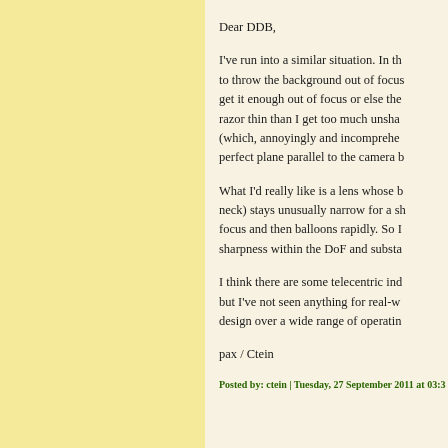Dear DDB,
I've run into a similar situation. In th to throw the background out of focus get it enough out of focus or else the razor thin than I get too much unsha (which, annoyingly and incomprehe perfect plane parallel to the camera b
What I'd really like is a lens whose b neck) stays unusually narrow for a sh focus and then balloons rapidly. So I sharpness within the DoF and substa
I think there are some telecentric ind but I've not seen anything for real-w design over a wide range of operatin
pax / Ctein
Posted by: ctein | Tuesday, 27 September 2011 at 03:3